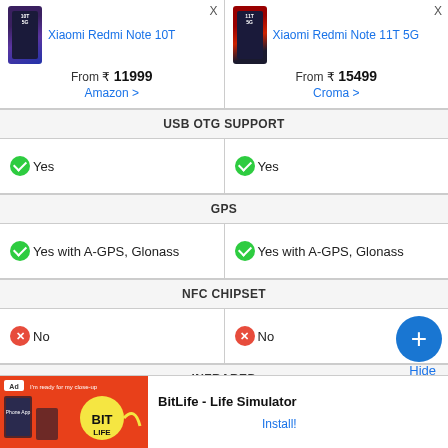| Xiaomi Redmi Note 10T | Xiaomi Redmi Note 11T 5G |
| --- | --- |
| From ₹ 11999 / Amazon > | From ₹ 15499 / Croma > |
| USB OTG SUPPORT | USB OTG SUPPORT |
| ✓ Yes | ✓ Yes |
| GPS | GPS |
| ✓ Yes with A-GPS, Glonass | ✓ Yes with A-GPS, Glonass |
| NFC CHIPSET | NFC CHIPSET |
| ✗ No | ✗ No |
| INFRARED | INFRARED |
| ✓ Yes | ✓ Yes |
| SOUND | SOUND |
[Figure (infographic): Ad banner for BitLife - Life Simulator with Install button]